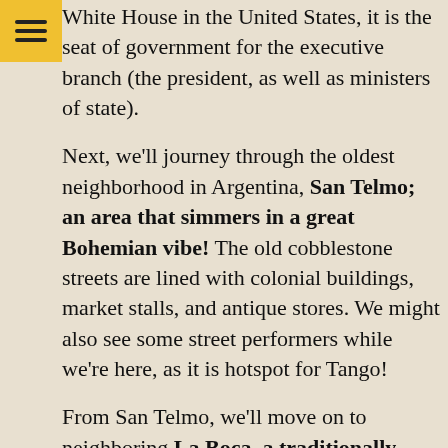White House in the United States, it is the seat of government for the executive branch (the president, as well as ministers of state).
Next, we'll journey through the oldest neighborhood in Argentina, San Telmo; an area that simmers in a great Bohemian vibe! The old cobblestone streets are lined with colonial buildings, market stalls, and antique stores. We might also see some street performers while we're here, as it is hotspot for Tango!
From San Telmo, we'll move on to neighboring La Boca, a traditionally Italian area of the city which is best known for its collection of vibrant